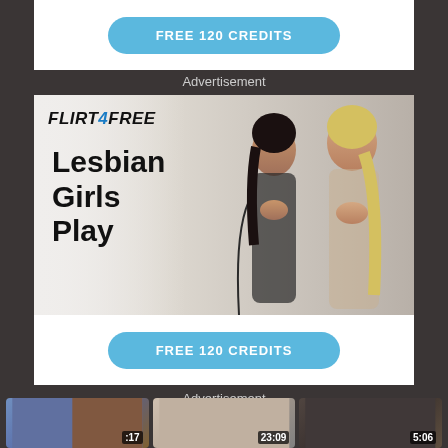[Figure (screenshot): Top portion of an advertisement banner with a blue 'FREE 120 CREDITS' button on white background]
Advertisement
[Figure (screenshot): Flirt4Free advertisement banner showing 'Lesbian Girls Play' text with Flirt4Free logo and two women, and a blue 'FREE 120 CREDITS' button]
Advertisement
[Figure (screenshot): Three video thumbnails at the bottom with timestamps: :17, 23:09, 5:06]